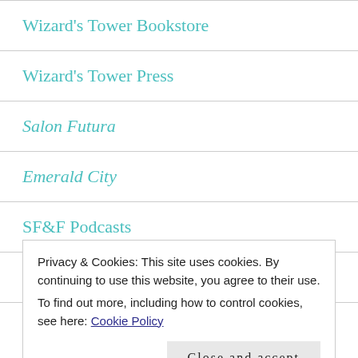Wizard's Tower Bookstore
Wizard's Tower Press
Salon Futura
Emerald City
SF&F Podcasts
Gender Podcasts
Privacy & Cookies: This site uses cookies. By continuing to use this website, you agree to their use.
To find out more, including how to control cookies, see here: Cookie Policy
Close and accept